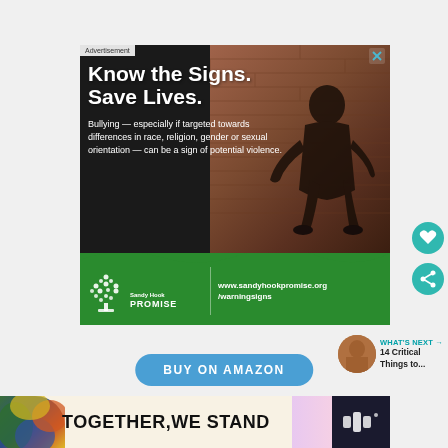[Figure (photo): Sandy Hook Promise advertisement showing a person sitting against a brick wall with text 'Know the Signs. Save Lives.' and bullying warning message]
Bullying — especially if targeted towards differences in race, religion, gender or sexual orientation — can be a sign of potential violence.
www.sandyhookpromise.org/warningsigns
[Figure (other): What's Next panel showing a thumbnail image with text '14 Critical Things to...']
WHAT'S NEXT → 14 Critical Things to...
[Figure (other): BUY ON AMAZON button in blue]
[Figure (other): TOGETHER, WE STAND bottom banner advertisement]